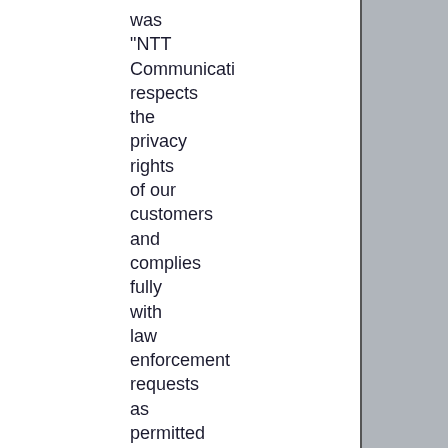was "NTT Communicati respects the privacy rights of our customers and complies fully with law enforcement requests as permitted and required by law." [5]